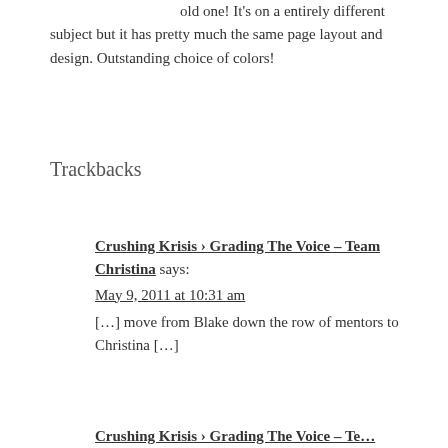old one! It's on a entirely different subject but it has pretty much the same page layout and design. Outstanding choice of colors!
Trackbacks
Crushing Krisis › Grading The Voice – Team Christina says:
May 9, 2011 at 10:31 am
[…] move from Blake down the row of mentors to Christina […]
Crushing Krisis › Grading The Voice – Te…